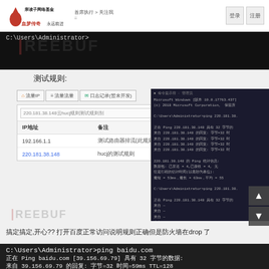血梦传奇 亲友网络基金 永远前进
[Figure (screenshot): Black terminal/command prompt screenshot showing C:\Users\Administrator> prompt with FREEBUF watermark]
测试规则:
[Figure (screenshot): Web interface showing IP management tabs (流量IP, 流量流量, 日志记录(暂未开发)) with a table listing IP地址 and 备注 entries: 192.166.1.1 (测试路由器排流(此规则不生效)), 220.181.38.148 (hucj的测试规则). Overlaid with a CMD window showing ping 220.181.38.148 output in Chinese Windows terminal.]
搞定搞定,开心?? 打开百度正常访问说明规则正确但是防火墙在drop 了
[Figure (screenshot): Black terminal showing: C:\Users\Administrator>ping baidu.com and 正在 Ping baidu.com [39.156.69.79] 具有 32 字节的数据: 来自 39.156.69.79 的回复: 字节=32 时间=59ms TTL=128]